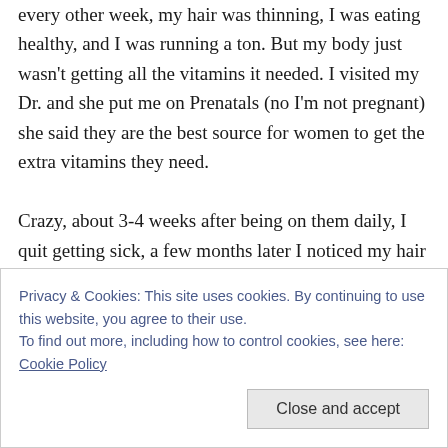every other week, my hair was thinning, I was eating healthy, and I was running a ton. But my body just wasn't getting all the vitamins it needed. I visited my Dr. and she put me on Prenatals (no I'm not pregnant) she said they are the best source for women to get the extra vitamins they need. Crazy, about 3-4 weeks after being on them daily, I quit getting sick, a few months later I noticed my hair starting to grow in thicker. I've been taking them for 15 months now, and I have
Privacy & Cookies: This site uses cookies. By continuing to use this website, you agree to their use.
To find out more, including how to control cookies, see here: Cookie Policy